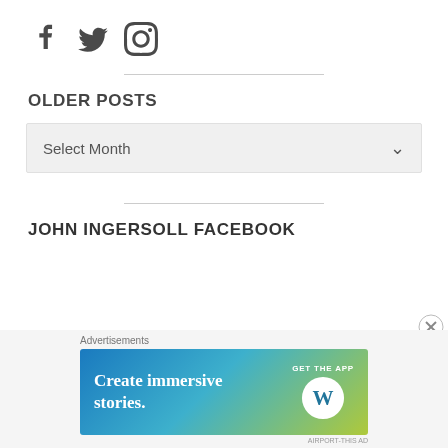[Figure (illustration): Three social media icons: Facebook, Twitter, Instagram in dark gray]
OLDER POSTS
[Figure (other): Dropdown selector showing 'Select Month' with chevron arrow]
JOHN INGERSOLL FACEBOOK
[Figure (other): Close (X) button circle icon]
Advertisements
[Figure (other): WordPress advertisement banner: 'Create immersive stories. GET THE APP' with WordPress logo, gradient blue-green background]